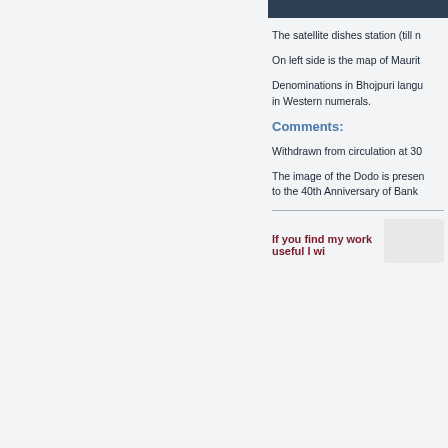[Figure (photo): Dark header bar at top right of page]
The satellite dishes station (till n
On left side is the map of Maurit
Denominations in Bhojpuri langu in Western numerals.
Comments:
Withdrawn from circulation at 30
The image of the Dodo is presen to the 40th Anniversary of Bank
If you find my work useful I wi